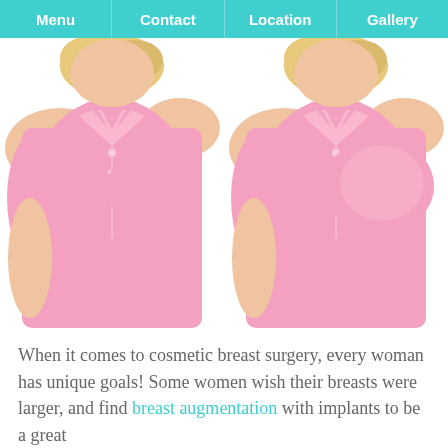Menu  Contact  Location  Gallery
[Figure (photo): Side-by-side before and after photos of a woman in a pink polo shirt showing breast augmentation results. Left image shows before (smaller profile), right image shows after (larger profile).]
When it comes to cosmetic breast surgery, every woman has unique goals! Some women wish their breasts were larger, and find breast augmentation with implants to be a great